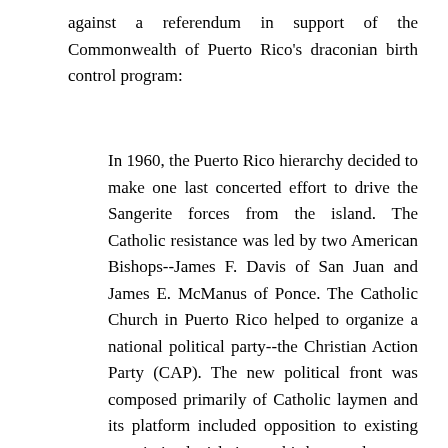against a referendum in support of the Commonwealth of Puerto Rico's draconian birth control program:
In 1960, the Puerto Rico hierarchy decided to make one last concerted effort to drive the Sangerite forces from the island. The Catholic resistance was led by two American Bishops--James F. Davis of San Juan and James E. McManus of Ponce. The Catholic Church in Puerto Rico helped to organize a national political party--the Christian Action Party (CAP). The new political front was composed primarily of Catholic laymen and its platform included opposition to existing permissive legislation on birth control